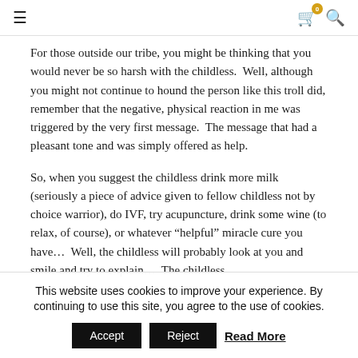≡  🛒 0  🔍
For those outside our tribe, you might be thinking that you would never be so harsh with the childless.  Well, although you might not continue to hound the person like this troll did, remember that the negative, physical reaction in me was triggered by the very first message.  The message that had a pleasant tone and was simply offered as help.
So, when you suggest the childless drink more milk (seriously a piece of advice given to fellow childless not by choice warrior), do IVF, try acupuncture, drink some wine (to relax, of course), or whatever “helpful” miracle cure you have…  Well, the childless will probably look at you and smile and try to explain…  The childless
This website uses cookies to improve your experience. By continuing to use this site, you agree to the use of cookies.